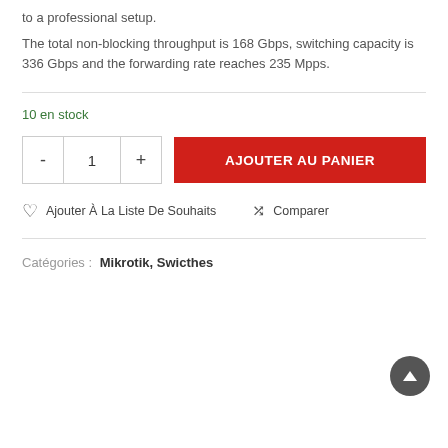to a professional setup.
The total non-blocking throughput is 168 Gbps, switching capacity is 336 Gbps and the forwarding rate reaches 235 Mpps.
10 en stock
AJOUTER AU PANIER
Ajouter À La Liste De Souhaits
Comparer
Catégories : Mikrotik, Swicthes